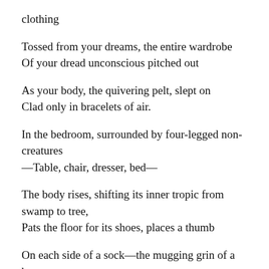clothing
Tossed from your dreams, the entire wardrobe
Of your dread unconscious pitched out
As your body, the quivering pelt, slept on
Clad only in bracelets of air.
In the bedroom, surrounded by four-legged non-creatures
—Table, chair, dresser, bed—
The body rises, shifting its inner tropic from swamp to tree,
Pats the floor for its shoes, places a thumb
On each side of a sock—the mugging grin of a boy
About to stick out his tongue